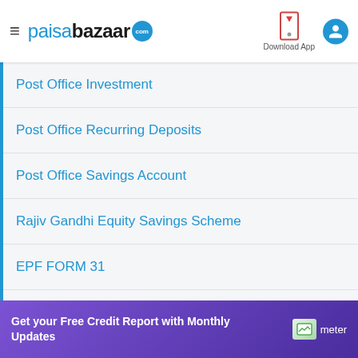paisabazaar.com — Download App
Post Office Investment
Post Office Recurring Deposits
Post Office Savings Account
Rajiv Gandhi Equity Savings Scheme
EPF FORM 31
National Securities Depository Limited
Kisan Vikas Patra
Senior Citizen Saving Scheme
Get your Free Credit Report with Monthly Updates  meter